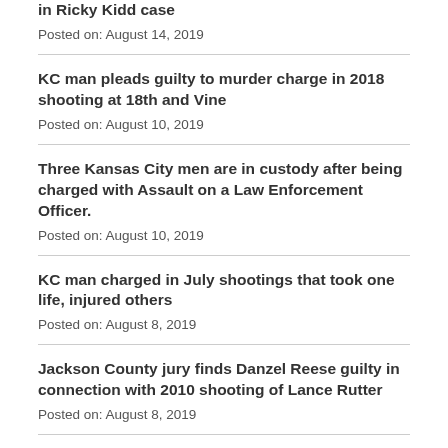in Ricky Kidd case
Posted on: August 14, 2019
KC man pleads guilty to murder charge in 2018 shooting at 18th and Vine
Posted on: August 10, 2019
Three Kansas City men are in custody after being charged with Assault on a Law Enforcement Officer.
Posted on: August 10, 2019
KC man charged in July shootings that took one life, injured others
Posted on: August 8, 2019
Jackson County jury finds Danzel Reese guilty in connection with 2010 shooting of Lance Rutter
Posted on: August 8, 2019
KC man charged in death of two other men, both